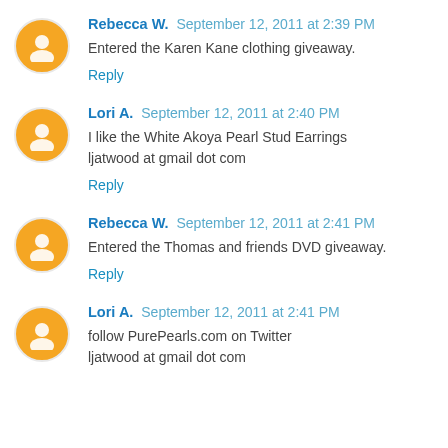Rebecca W. September 12, 2011 at 2:39 PM
Entered the Karen Kane clothing giveaway.
Reply
Lori A. September 12, 2011 at 2:40 PM
I like the White Akoya Pearl Stud Earrings ljatwood at gmail dot com
Reply
Rebecca W. September 12, 2011 at 2:41 PM
Entered the Thomas and friends DVD giveaway.
Reply
Lori A. September 12, 2011 at 2:41 PM
follow PurePearls.com on Twitter ljatwood at gmail dot com